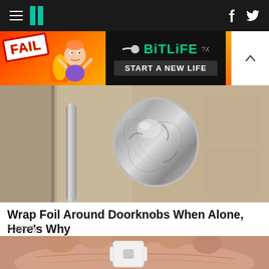HuffPost navigation with hamburger menu, logo, Facebook and Twitter icons
[Figure (photo): BitLife advertisement banner: FAIL text with animated character, BitLife logo, START A NEW LIFE text on dark background]
[Figure (photo): Close-up photo of a door handle/knob wrapped in aluminum foil]
Wrap Foil Around Doorknobs When Alone, Here's Why
Sogoodly
[Figure (photo): A hand holding a small white plastic puzzle-piece shaped object]